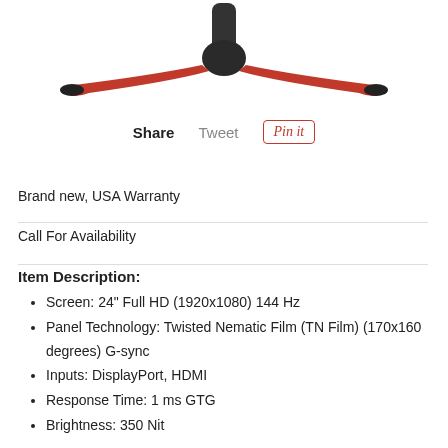[Figure (photo): Bottom portion of a gaming monitor stand with red and black legs visible against a white background]
Share   Tweet   Pin it
Brand new, USA Warranty
Call For Availability
Item Description:
Screen: 24" Full HD (1920x1080) 144 Hz
Panel Technology: Twisted Nematic Film (TN Film) (170x160 degrees) G-sync
Inputs: DisplayPort, HDMI
Response Time: 1 ms GTG
Brightness: 350 Nit